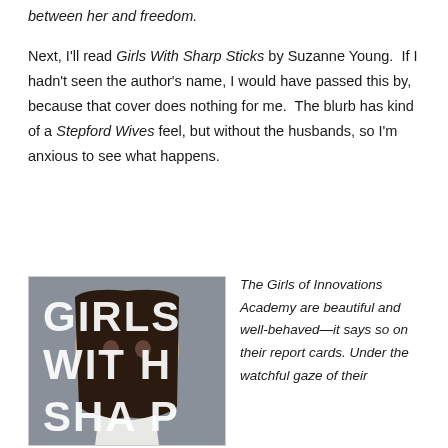between her and freedom.
Next, I'll read Girls With Sharp Sticks by Suzanne Young.  If I hadn't seen the author's name, I would have passed this by, because that cover does nothing for me.  The blurb has kind of a Stepford Wives feel, but without the husbands, so I'm anxious to see what happens.
[Figure (photo): Book cover of Girls With Sharp Sticks showing a young woman with dark hair parted in the middle, with large block letters overlaid reading GIRLS WITH SHARP in white on a grey background]
The Girls of Innovations Academy are beautiful and well-behaved—it says so on their report cards. Under the watchful gaze of their